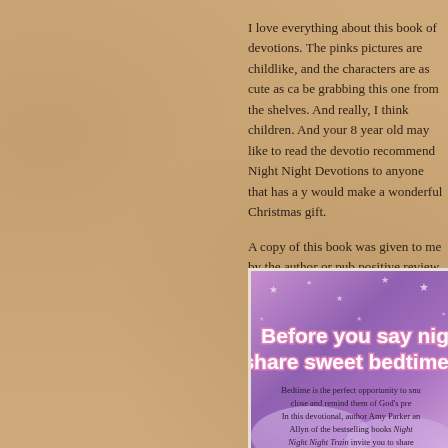I love everything about this book of devotions. The pinks pictures are childlike, and the characters are as cute as ca be grabbing this one from the shelves. And really, I think children. And your 8 year old may like to read the devoti recommend Night Night Devotions to anyone that has a y would make a wonderful Christmas gift.
A copy of this book was given to me by the author or pub positive review. The opinions here in this review are total this with my review in accordance with the Federal Trade
[Figure (illustration): Book cover or promotional image for Night Night Devotions on a purple/pink starry background with text 'Before you say nig... share sweet bedtime...' and description text about the devotional by Amy Parker and Allyn of the Night Night Train books.]